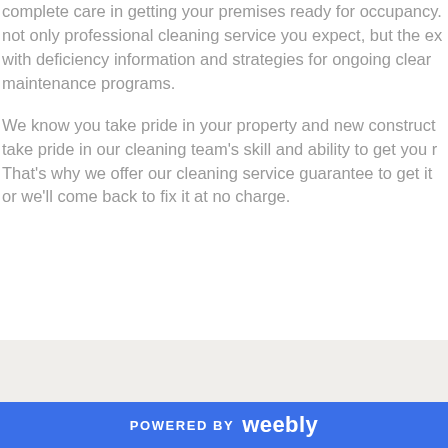complete care in getting your premises ready for occupancy. not only professional cleaning service you expect, but the ex with deficiency information and strategies for ongoing clear maintenance programs.

We know you take pride in your property and new construct take pride in our cleaning team’s skill and ability to get you r That’s why we offer our cleaning service guarantee to get it or we’ll come back to fix it at no charge.
POWERED BY weebly